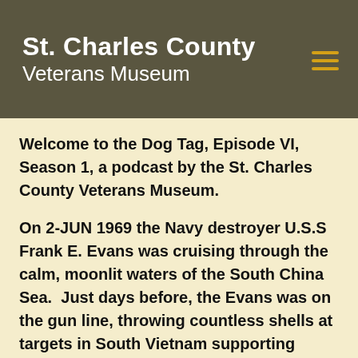[Figure (screenshot): Website header banner for St. Charles County Veterans Museum with dark olive/khaki background color and hamburger menu icon in gold]
St. Charles County Veterans Museum
Welcome to the Dog Tag, Episode VI, Season 1, a podcast by the St. Charles County Veterans Museum.
On 2-JUN 1969 the Navy destroyer U.S.S Frank E. Evans was cruising through the calm, moonlit waters of the South China Sea.  Just days before, the Evans was on the gun line, throwing countless shells at targets in South Vietnam supporting ground troops.  The Evans had just earned its second